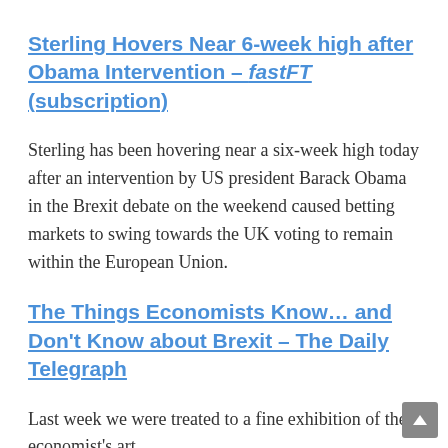Sterling Hovers Near 6-week high after Obama Intervention – fastFT (subscription)
Sterling has been hovering near a six-week high today after an intervention by US president Barack Obama in the Brexit debate on the weekend caused betting markets to swing towards the UK voting to remain within the European Union.
The Things Economists Know… and Don't Know about Brexit – The Daily Telegraph
Last week we were treated to a fine exhibition of the economist's art.